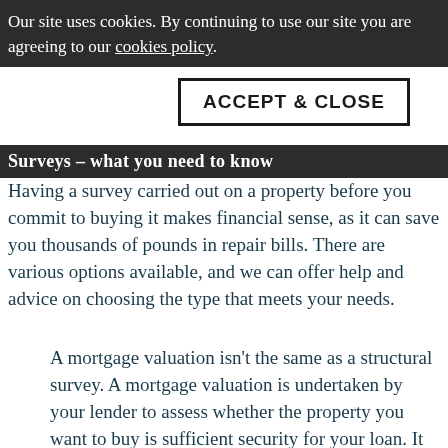Our site uses cookies. By continuing to use our site you are agreeing to our cookies policy.
[Figure (screenshot): ACCEPT & CLOSE button overlay on dark cookie bar]
Surveys – what you need to know
Having a survey carried out on a property before you commit to buying it makes financial sense, as it can save you thousands of pounds in repair bills. There are various options available, and we can offer help and advice on choosing the type that meets your needs.
A mortgage valuation isn't the same as a structural survey. A mortgage valuation is undertaken by your lender to assess whether the property you want to buy is sufficient security for your loan. It won't